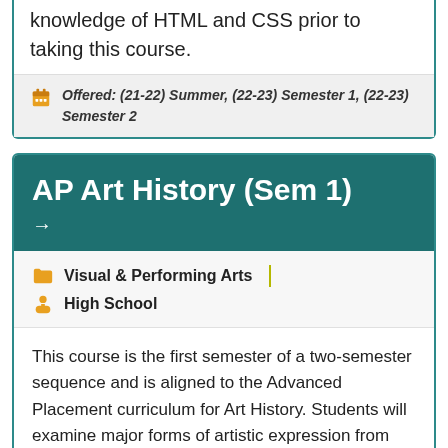knowledge of HTML and CSS prior to taking this course.
Offered: (21-22) Summer, (22-23) Semester 1, (22-23) Semester 2
AP Art History (Sem 1)
Visual & Performing Arts | High School
This course is the first semester of a two-semester sequence and is aligned to the Advanced Placement curriculum for Art History. Students will examine major forms of artistic expression from the past and present from a variety of artistic...